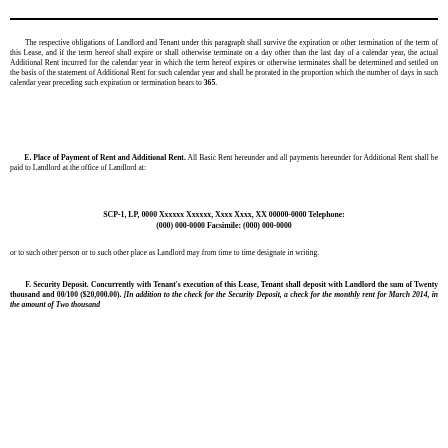The respective obligations of Landlord and Tenant under this paragraph shall survive the expiration or other termination of the term of this Lease, and if the term hereof shall expire or shall otherwise terminate on a day other than the last day of a calendar year, the actual Additional Rent incurred for the calendar year in which the term hereof expires or otherwise terminates shall be determined and settled on the basis of the statement of Additional Rent for such calendar year and shall be prorated in the proportion which the number of days in such calendar year preceding such expiration or termination bears to 365.
E. Place of Payment of Rent and Additional Rent. All Basic Rent hereunder and all payments hereunder for Additional Rent shall be paid to Landlord at the office of Landlord at:
SCP-1, LP, 0000 Xxxxxx Xxxxxx, Xxxx Xxxx, XX 00000-0000 Telephone: (000) 000-0000 Facsimile: (000) 000-0000
or to such other person or to such other place as Landlord may from time to time designate in writing.
F. Security Deposit. Concurrently with Tenant's execution of this Lease, Tenant shall deposit with Landlord the sum of Twenty thousand and 00/100 ($20,000.00). [In addition to the check for the Security Deposit, a check for the monthly rent for March 2014, in the amount of Two thousand